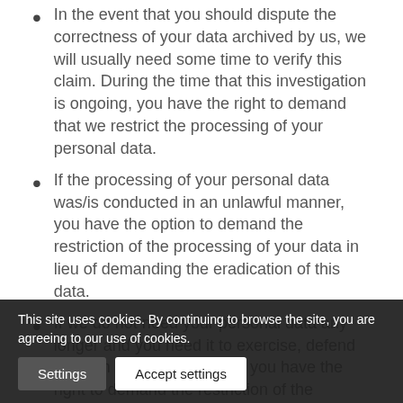In the event that you should dispute the correctness of your data archived by us, we will usually need some time to verify this claim. During the time that this investigation is ongoing, you have the right to demand that we restrict the processing of your personal data.
If the processing of your personal data was/is conducted in an unlawful manner, you have the option to demand the restriction of the processing of your data in lieu of demanding the eradication of this data.
If we do not need your personal data any longer and you need it to exercise, defend or claim legal entitlements, you have the right to demand the restriction of the processing of your personal data instead of its eradication.
If you have filed an objection pursuant to Art. 21 Sect. 1 GDPR, your rights and our rights will have to be weighed against each other. As long as it has not been determined whose interests prevail, you have the right...
This site uses cookies. By continuing to browse the site, you are agreeing to our use of cookies.